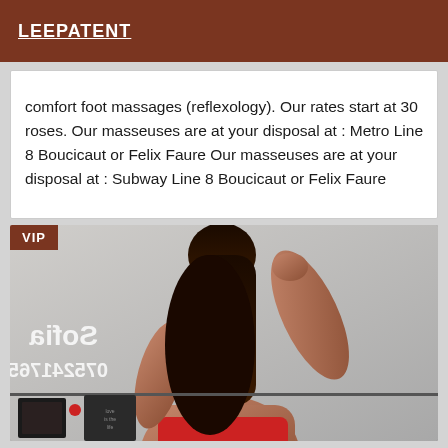LEEPATENT
comfort foot massages (reflexology). Our rates start at 30 roses. Our masseuses are at your disposal at : Metro Line 8 Boucicaut or Felix Faure Our masseuses are at your disposal at : Subway Line 8 Boucicaut or Felix Faure
[Figure (photo): A person with long dark hair viewed from behind, with overlaid mirrored text reading 'Sofia' and '0752417651', with a VIP badge in the top-left corner. Small decorative items visible on a shelf in the lower portion.]